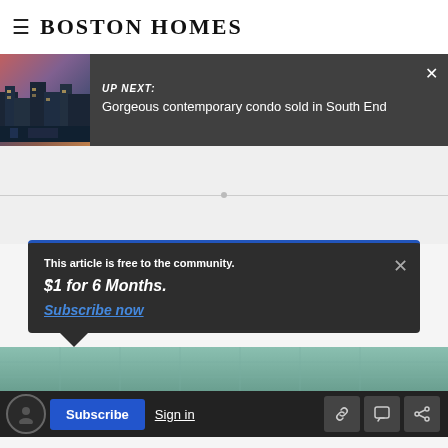Boston Homes
UP NEXT: Gorgeous contemporary condo sold in South End
[Figure (photo): Exterior photo of a Boston building at dusk with warm sky tones]
This article is free to the community. $1 for 6 Months. Subscribe now
Subscribe  Sign in